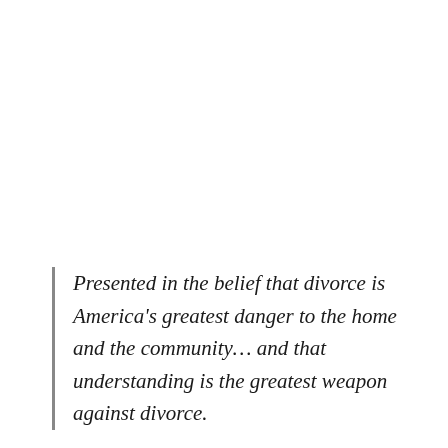Presented in the belief that divorce is America's greatest danger to the home and the community… and that understanding is the greatest weapon against divorce.